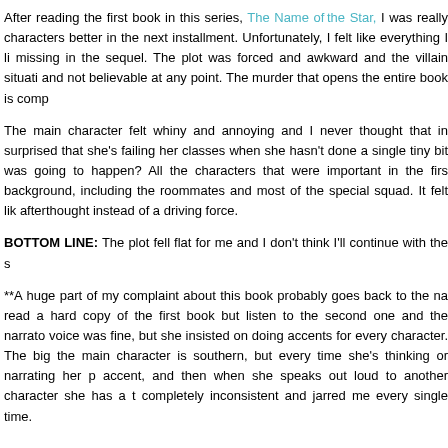After reading the first book in this series, The Name ofthe Star, I was really [expecting to get to know the] characters better in the next installment. Unfortunately, I felt like everything I li[ked about the first book was] missing in the sequel. The plot was forced and awkward and the villain situati[on was completely ridiculous] and not believable at any point. The murder that opens the entire book is comp[letely glossed over and...]
The main character felt whiny and annoying and I never thought that in [the first book. Am I really] surprised that she's failing her classes when she hasn't done a single tiny bit [of work? Of course that] was going to happen? All the characters that were important in the firs[t book were pushed to the] background, including the roommates and most of the special squad. It felt lik[e they were kind of an] afterthought instead of a driving force.
BOTTOM LINE: The plot fell flat for me and I don't think I'll continue with the s[eries.]
**A huge part of my complaint about this book probably goes back to the na[rration. I actually] read a hard copy of the first book but listen to the second one and the narrato[r drove me crazy. Her] voice was fine, but she insisted on doing accents for every character. The big [problem is that] the main character is southern, but every time she's thinking or narrating her p[assage she has no] accent, and then when she speaks out loud to another character she has a t[hick accent. It was] completely inconsistent and jarred me every single time.